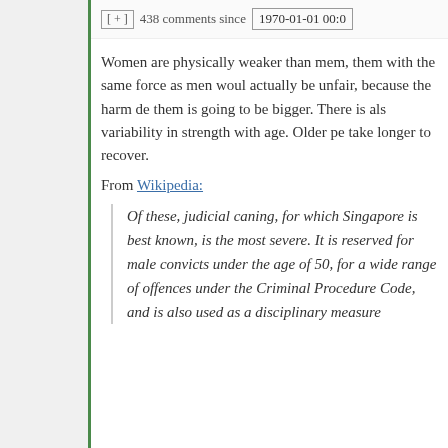[ + ] 438 comments since 1970-01-01 00:0
Women are physically weaker than men, them with the same force as men would actually be unfair, because the harm done them is going to be bigger. There is also variability in strength with age. Older people take longer to recover.
From Wikipedia:
Of these, judicial caning, for which Singapore is best known, is the most severe. It is reserved for male convicts under the age of 50, for a wide range of offences under the Criminal Procedure Code, and is also used as a disciplinary measure